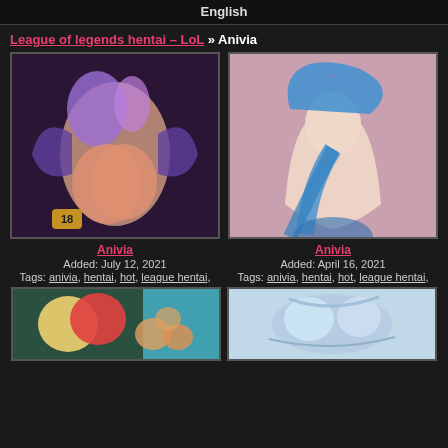English
League of legends hentai – LoL » Anivia
[Figure (illustration): Anime hentai illustration of Anivia character with purple wings and blue hair]
Anivia
Added: July 12, 2021
Tags: anivia, hentai, hot, league hentai,
[Figure (illustration): Anime hentai illustration of Anivia character with blue hair, nude]
Anivia
Added: April 16, 2021
Tags: anivia, hentai, hot, league hentai,
[Figure (illustration): Anime illustration with blonde and red-haired characters and small creatures]
[Figure (illustration): Anime illustration with blue-toned bird-like figure]